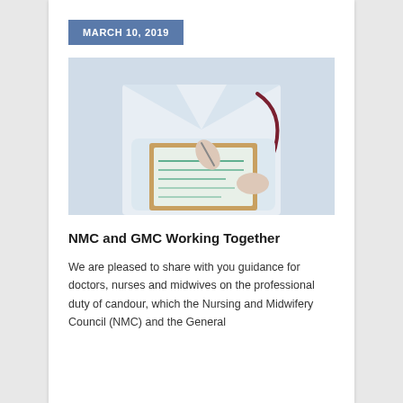MARCH 10, 2019
[Figure (photo): A doctor in a white coat with a stethoscope writing on a clipboard]
NMC and GMC Working Together
We are pleased to share with you guidance for doctors, nurses and midwives on the professional duty of candour, which the Nursing and Midwifery Council (NMC) and the General